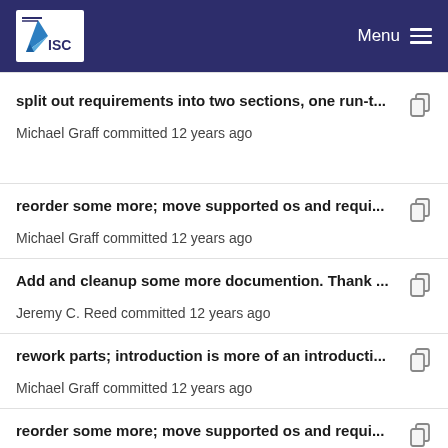ISC Menu
split out requirements into two sections, one run-t...
Michael Graff committed 12 years ago
reorder some more; move supported os and requi...
Michael Graff committed 12 years ago
Add and cleanup some more documention. Thank ...
Jeremy C. Reed committed 12 years ago
rework parts; introduction is more of an introducti...
Michael Graff committed 12 years ago
reorder some more; move supported os and requi...
Michael Graff committed 12 years ago